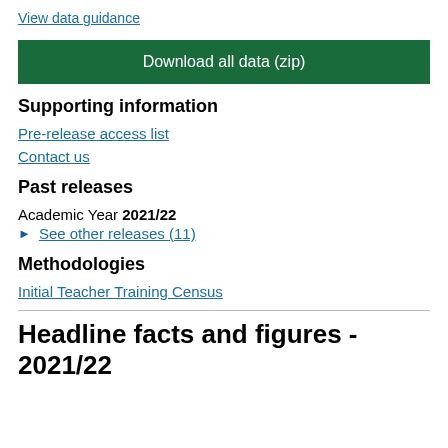View data guidance
Download all data (zip)
Supporting information
Pre-release access list
Contact us
Past releases
Academic Year 2021/22
See other releases (11)
Methodologies
Initial Teacher Training Census
Headline facts and figures - 2021/22